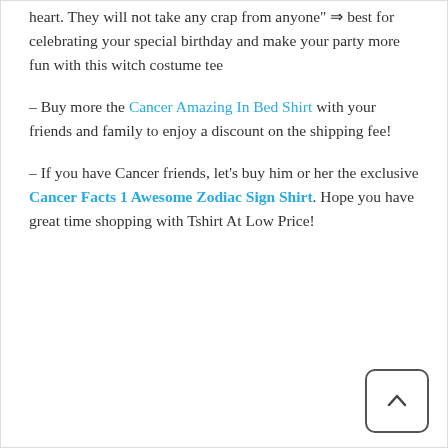heart. They will not take any crap from anyone" ⇒ best for celebrating your special birthday and make your party more fun with this witch costume tee
– Buy more the Cancer Amazing In Bed Shirt with your friends and family to enjoy a discount on the shipping fee!
– If you have Cancer friends, let's buy him or her the exclusive Cancer Facts 1 Awesome Zodiac Sign Shirt. Hope you have great time shopping with Tshirt At Low Price!